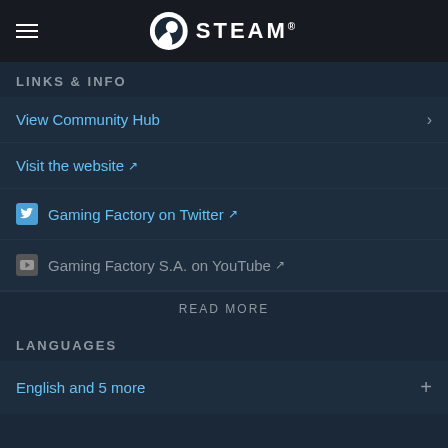STEAM
LINKS & INFO
View Community Hub
Visit the website ↗
Gaming Factory on Twitter ↗
Gaming Factory S.A. on YouTube ↗
READ MORE
LANGUAGES
English and 5 more
RELAXING AND CASUAL GAMES